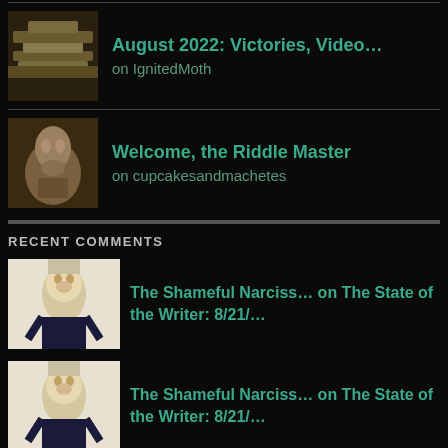August 2022: Victories, Video... on IgnitedMoth
Welcome, the Riddle Master on cupcakesandmachetes
RECENT COMMENTS
The Shameful Narciss... on The State of the Writer: 8/21/...
The Shameful Narciss... on The State of the Writer: 8/21/...
The Shameful Narciss... on The State of the Reader: 8/10/...
The State of the Gam... on The State of the Gamer: 8/25/2...